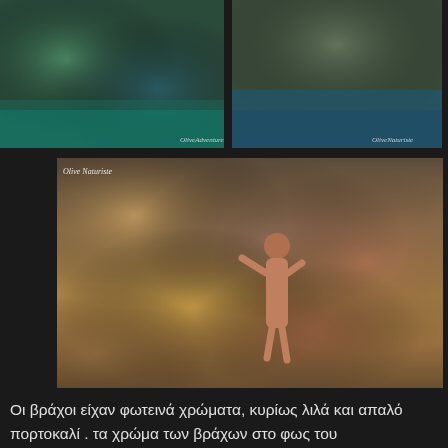[Figure (photo): Top-left photo showing colorful rocky coastal cliffs with turquoise water, aerial or close view. Watermark visible bottom right.]
[Figure (photo): Top-right photo showing rocky coastal cliff face with sea water visible. Watermark visible bottom right.]
[Figure (photo): Large main photo of a person climbing on colorful rocky cliff face with purple, orange and ochre colored rocks. Watermark 'Olive Naturiste' visible top left.]
Οι βράχοι είχαν φωτεινά χρώματα, κυρίως λιλά και απαλό πορτοκαλί . τα χρώμα των βράχων στο φως του ηλιοβασιλέματος συνέθεταν μια πανέμορφη εικόνα. Στο συνέχεια, συσκαλώμους κολυμβώντας μια σταλιά